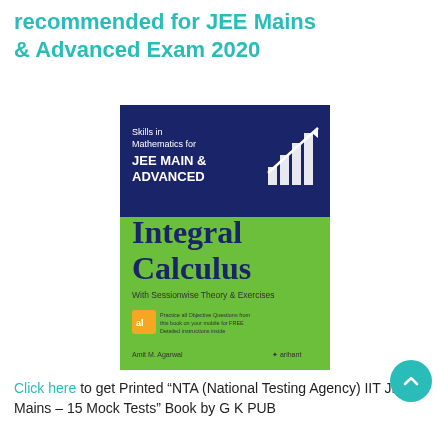recommended for JEE Mains & Advanced Exam 2020
[Figure (photo): Book cover of 'Skills in Mathematics for JEE MAIN & ADVANCED – Integral Calculus: With Sessionwise Theory & Exercises' by Amit M. Agarwal, published by Arihant. Green cover with dark blue header panel, bar chart graphic, and small mobile app badge.]
Click here to get Printed "NTA (National Testing Agency) IIT JEE Mains – 15 Mock Tests" Book by G K PUB